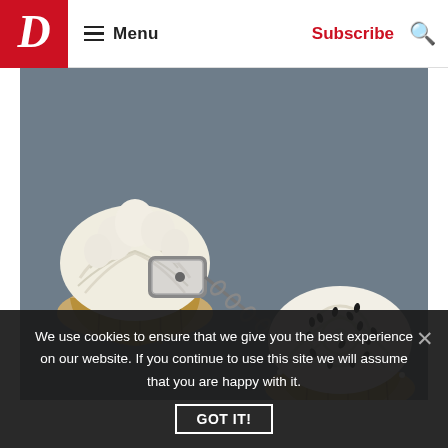D | Menu | Subscribe | Search
[Figure (photo): Two cupcakes cuffed together with metal handcuffs on a gray background. Left cupcake has white swirled frosting, right cupcake has white frosting with dark chocolate sprinkles, connected by a metal chain.]
We use cookies to ensure that we give you the best experience on our website. If you continue to use this site we will assume that you are happy with it.
GOT IT!